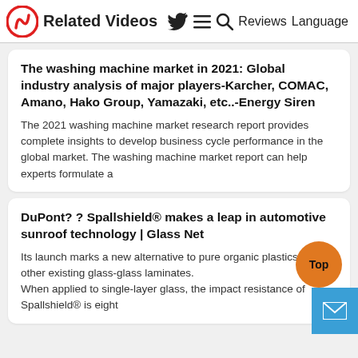Related Videos | Reviews Language
The washing machine market in 2021: Global industry analysis of major players-Karcher, COMAC, Amano, Hako Group, Yamazaki, etc..-Energy Siren
The 2021 washing machine market research report provides complete insights to develop business cycle performance in the global market. The washing machine market report can help experts formulate a
DuPont? ? Spallshield® makes a leap in automotive sunroof technology | Glass Net
Its launch marks a new alternative to pure organic plastics or other existing glass-glass laminates.
When applied to single-layer glass, the impact resistance of Spallshield® is eight